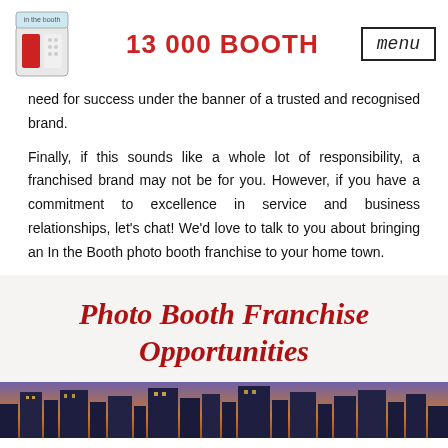13 000 BOOTH
need for success under the banner of a trusted and recognised brand.
Finally, if this sounds like a whole lot of responsibility, a franchised brand may not be for you. However, if you have a commitment to excellence in service and business relationships, let's chat! We'd love to talk to you about bringing an In the Booth photo booth franchise to your home town.
Photo Booth Franchise Opportunities
[Figure (photo): City skyline photo at dusk/night with tall buildings illuminated]